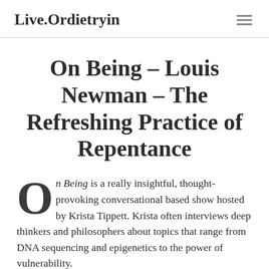Live.Ordietryin
On Being – Louis Newman – The Refreshing Practice of Repentance
On Being is a really insightful, thought-provoking conversational based show hosted by Krista Tippett. Krista often interviews deep thinkers and philosophers about topics that range from DNA sequencing and epigenetics to the power of vulnerability.
In this conversation, which we di...